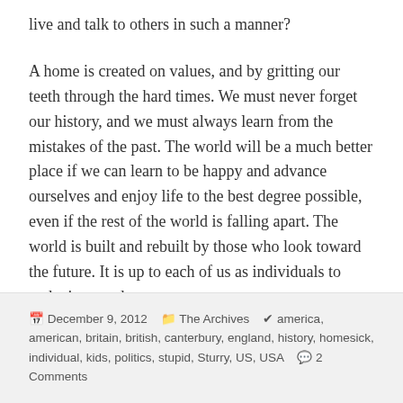live and talk to others in such a manner?
A home is created on values, and by gritting our teeth through the hard times. We must never forget our history, and we must always learn from the mistakes of the past. The world will be a much better place if we can learn to be happy and advance ourselves and enjoy life to the best degree possible, even if the rest of the world is falling apart. The world is built and rebuilt by those who look toward the future. It is up to each of us as individuals to make it a good one.
December 9, 2012  The Archives  america, american, britain, british, canterbury, england, history, homesick, individual, kids, politics, stupid, Sturry, US, USA  2 Comments